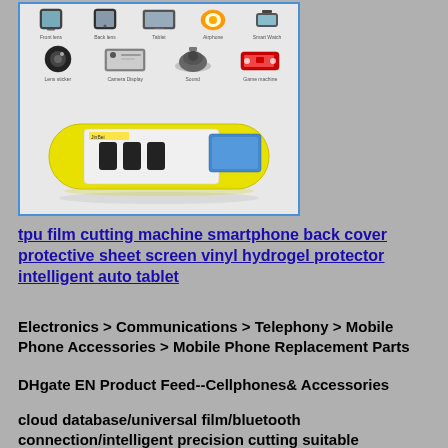[Figure (photo): Product image showing a yellow TPU film cutting machine (JinBei brand) surrounded by icons of compatible devices: front lens, back lens, tablet, airphone, smart watch (top row), lens sticker, camera display, sound speaker, game machine (middle row). The machine is pill-shaped with yellow casing, white body, black rollers, and a blue touchscreen panel.]
tpu film cutting machine smartphone back cover protective sheet screen vinyl hydrogel protector intelligent auto tablet
Electronics > Communications > Telephony > Mobile Phone Accessories > Mobile Phone Replacement Parts
DHgate EN Product Feed--Cellphones& Accessories
cloud database/universal film/bluetooth connection/intelligent precision cutting suitable